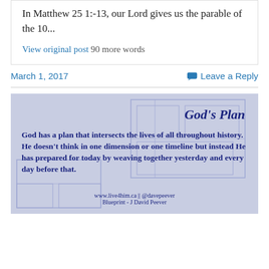In Matthew 25 1:-13, our Lord gives us the parable of the 10...
View original post 90 more words
March 1, 2017
Leave a Reply
[Figure (infographic): God's Plan infographic on a blueprint background. Title: God's Plan. Body: God has a plan that intersects the lives of all throughout history. He doesn't think in one dimension or one timeline but instead He has prepared for today by weaving together yesterday and every day before that. Footer: www.live4him.ca || @davepeever Blueprint - J David Peever]